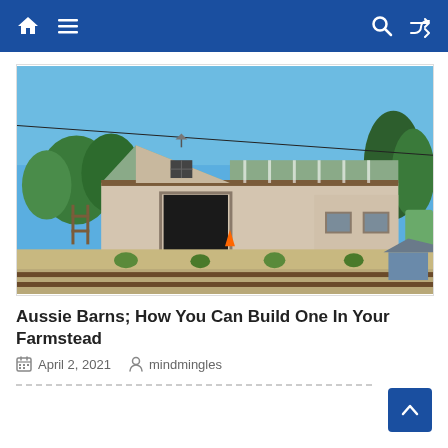Navigation bar with home, menu, search, and shuffle icons
[Figure (photo): A large Australian barn/shed with a green corrugated iron roof, light tan/beige metal walls, a large dark open doorway in the center, and small windows on the right side. There are small trees lining the front, sandy ground, and a blue sky in the background.]
Aussie Barns; How You Can Build One In Your Farmstead
April 2, 2021   mindmingles